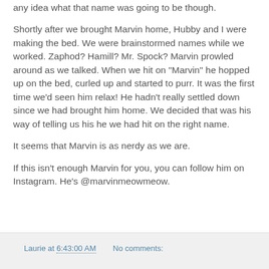any idea what that name was going to be though.
Shortly after we brought Marvin home, Hubby and I were making the bed.  We were brainstormed names while we worked.  Zaphod? Hamill? Mr. Spock?  Marvin prowled around as we talked.  When we hit on "Marvin" he hopped up on the bed, curled up and started to purr.  It was the first time we'd seen him relax! He hadn't really settled down since we had brought him home.  We decided that was his way of telling us his he we had hit on the right name.
It seems that Marvin is as nerdy as we are.
If this isn't enough Marvin for you, you can follow him on Instagram.  He's @marvinmeowmeow.
Laurie at 6:43:00 AM   No comments: